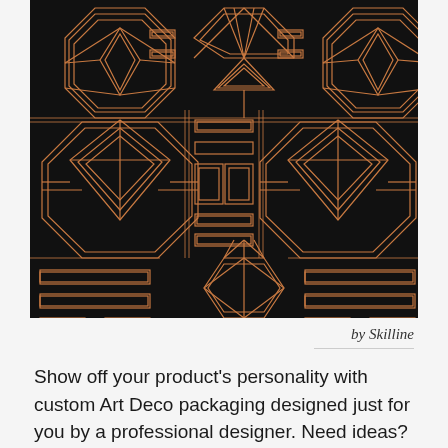[Figure (illustration): Art Deco geometric pattern in copper/bronze lines on black background, featuring repeating diamond, octagon and maze-like motifs arranged in a tile pattern]
by Skilline
Show off your product's personality with custom Art Deco packaging designed just for you by a professional designer. Need ideas? We've collected